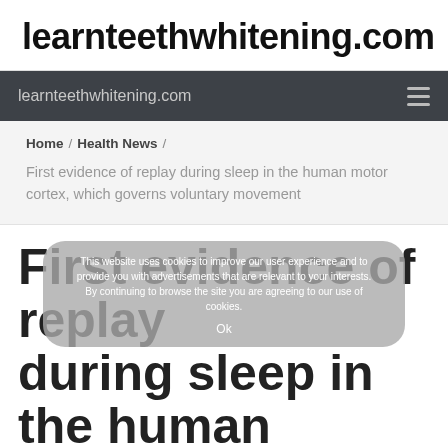learnteethwhitening.com
learnteethwhitening.com
Home / Health News / First evidence of replay during sleep in the human motor cortex, which governs voluntary movement
First evidence of replay during sleep in the human motor cortex, which
This website uses cookies to improve our user experience and to provide you with advertisements that are relevant to your interests. By continuing to browse the site you are agreeing to our use of cookies. Ok